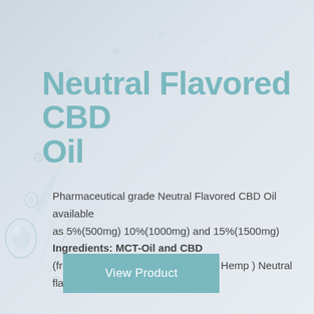Neutral Flavored CBD Oil
Pharmaceutical grade Neutral Flavored CBD Oil available as 5%(500mg) 10%(1000mg) and 15%(1500mg)
Ingredients: MCT-Oil and CBD
(from Cannabis sativa L. / Industrial Hemp ) Neutral flavour
View Product